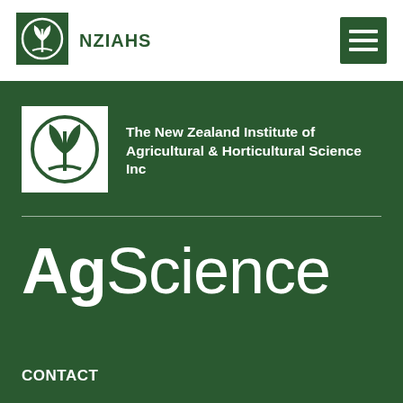[Figure (logo): NZIAHS logo: white circular emblem with stylized plant/leaf design on dark green square background, followed by bold text NZIAHS]
[Figure (other): Hamburger menu icon: three horizontal white lines on dark green square background]
[Figure (logo): Large NZIAHS logo on green background: white square with circular plant emblem inside]
The New Zealand Institute of Agricultural & Horticultural Science Inc
AgScience
CONTACT